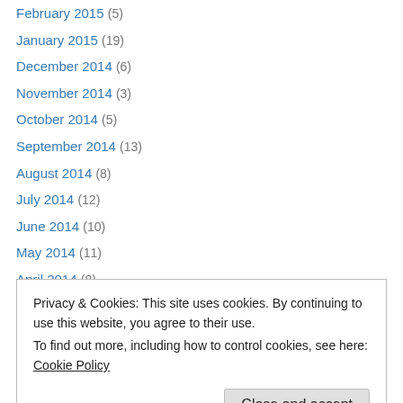February 2015 (5)
January 2015 (19)
December 2014 (6)
November 2014 (3)
October 2014 (5)
September 2014 (13)
August 2014 (8)
July 2014 (12)
June 2014 (10)
May 2014 (11)
April 2014 (8)
March 2014 (17)
February 2014 (11)
Privacy & Cookies: This site uses cookies. By continuing to use this website, you agree to their use. To find out more, including how to control cookies, see here: Cookie Policy
July 2013 (15)